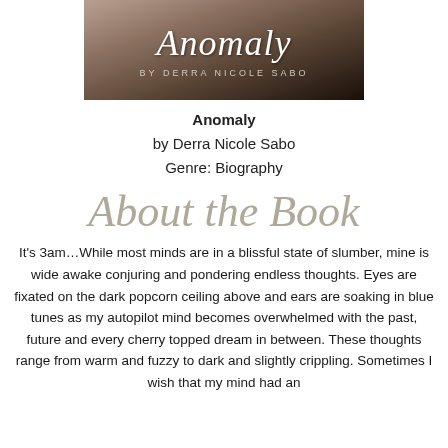[Figure (illustration): Book cover for 'Anomaly' by Derra Nicole Sabo, featuring a dark brownish textured background with script title 'Anomaly' and subtitle 'BY DERRA NICOLE SABO']
Anomaly
by Derra Nicole Sabo
Genre: Biography
About the Book
It's 3am…While most minds are in a blissful state of slumber, mine is wide awake conjuring and pondering endless thoughts. Eyes are fixated on the dark popcorn ceiling above and ears are soaking in blue tunes as my autopilot mind becomes overwhelmed with the past, future and every cherry topped dream in between. These thoughts range from warm and fuzzy to dark and slightly crippling. Sometimes I wish that my mind had an